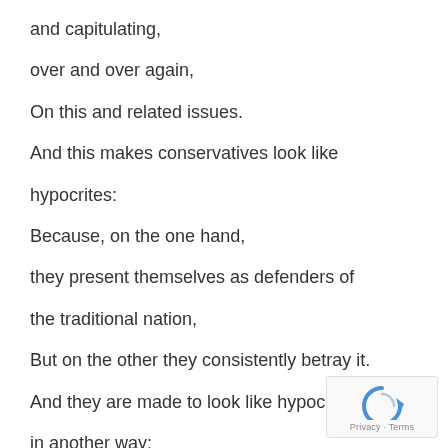and capitulating,
over and over again,
On this and related issues.
And this makes conservatives look like
hypocrites:
Because, on the one hand,
they present themselves as defenders of
the traditional nation,
But on the other they consistently betray it.
And they are made to look like hypocrites
in another way:
[Figure (logo): reCAPTCHA badge with blue arrow icon and Privacy · Terms text]